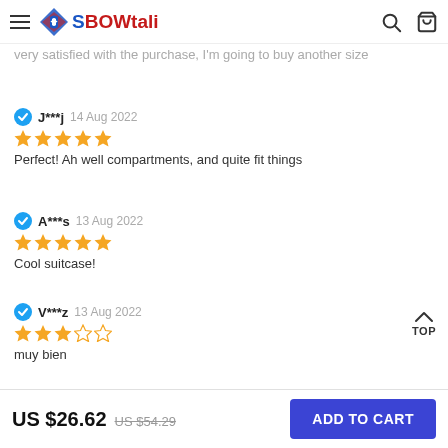BOWtali
very satisfied with the purchase, I'm going to buy another size
J***j  14 Aug 2022
★★★★★
Perfect! Ah well compartments, and quite fit things
A***s  13 Aug 2022
★★★★★
Cool suitcase!
V***z  13 Aug 2022
★★★☆☆
muy bien
US $26.62  US $54.29  ADD TO CART